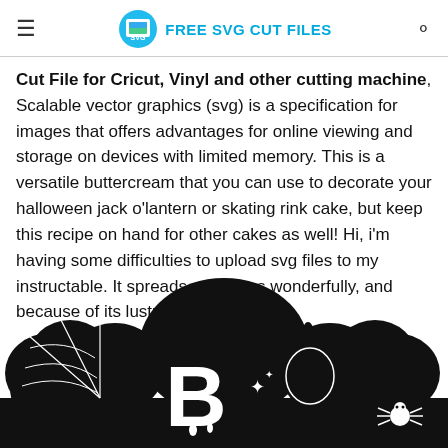FREE SVG CUT FILES
Cut File for Cricut, Vinyl and other cutting machine, Scalable vector graphics (svg) is a specification for images that offers advantages for online viewing and storage on devices with limited memory. This is a versatile buttercream that you can use to decorate your halloween jack o'lantern or skating rink cake, but keep this recipe on hand for other cakes as well! Hi, i'm having some difficulties to upload svg files to my instructable. It spreads and pipes wonderfully, and because of its lustrous, white appe.
[Figure (illustration): Black and white Halloween SVG cut file illustration showing spooky text or characters with spider webs, a spider, and ghost-like shapes.]